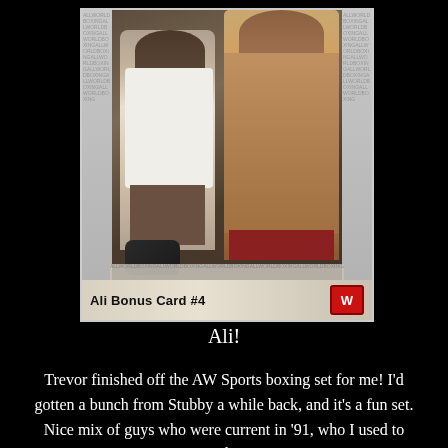[Figure (photo): A trading card labeled 'Ali Bonus Card #4' showing Muhammad Ali shirtless in a boxing ring alongside a man in a white polo shirt. The card has 'AW' logo in red on the bottom right. Watermark text borders the sides and bottom of the card image.]
Ali!
Trevor finished off the AW Sports boxing set for me! I’d gotten a bunch from Stubby a while back, and it’s a fun set. Nice mix of guys who were current in ’91, who I used to watch on